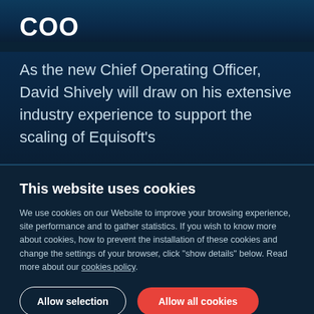COO
As the new Chief Operating Officer, David Shively will draw on his extensive industry experience to support the scaling of Equisoft's
This website uses cookies
We use cookies on our Website to improve your browsing experience, site performance and to gather statistics. If you wish to know more about cookies, how to prevent the installation of these cookies and change the settings of your browser, click "show details" below. Read more about our cookies policy.
Allow selection
Allow all cookies
Only necessary cookies
Select cookie types: ☑ Necessary ☐ Preferences ☐ Statistics
☐ Marketing